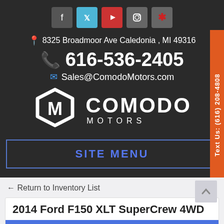[Figure (logo): Social media icons: Facebook, Twitter, YouTube, Instagram, Yelp]
8325 Broadmoor Ave Caledonia , MI 49316
616-536-2405
Sales@ComodoMotors.com
[Figure (logo): Comodo Motors logo: hexagon M icon with COMODO MOTORS text]
SITE MENU
Text Us: (616) 208-4808
← Return to Inventory List
2014 Ford F150 XLT SuperCrew 4WD
Text Us